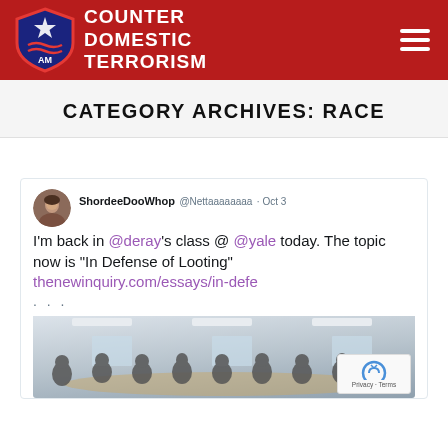[Figure (logo): Counter Domestic Terrorism shield logo with site name in header]
CATEGORY ARCHIVES: RACE
[Figure (screenshot): Embedded tweet from ShordeeDooWhop (@Nettaaaaaaaa) Oct 3: I'm back in @deray's class @ @yale today. The topic now is "In Defense of Looting" thenewinquiry.com/essays/in-defe — with an attached photo of a classroom/seminar setting with people seated around a table, and a reCAPTCHA privacy badge overlay.]